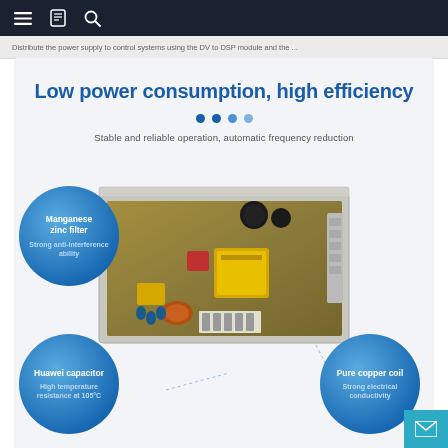Navigation bar with menu, book, and search icons
Distribute the power supply to control systems using the DV to DSP module
Low power consumption, high efficiency
Stable and reliable operation, automatic frequency reduction
[Figure (photo): Open-frame switching power supply PCB with components labeled: Manganese-zinc filter (Strong anti-interference ability), Huawei capacitor (High temperature resistance at 105°C), Pure copper coil (Strong electrical conductivity)]
Manganese-zinc filter
Strong anti-interference ability
Huawei capacitor
High temperature resistance at 105°C
Pure copper coil
Strong electrical conductivity